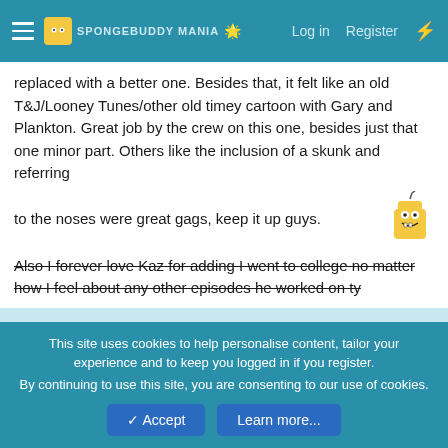SpongeBuddy Mania | Log in | Register
replaced with a better one. Besides that, it felt like an old T&J/Looney Tunes/other old timey cartoon with Gary and Plankton. Great job by the crew on this one, besides just that one minor part. Others like the inclusion of a skunk and referring to the noses were great gags, keep it up guys.
Also I forever love Kaz for adding I went to college no matter how I feel about any other episodes he worked on ty
👍 Smitty
Honest Slug
Ink Lemonade hurts me.
This site uses cookies to help personalise content, tailor your experience and to keep you logged in if you register.
By continuing to use this site, you are consenting to our use of cookies.